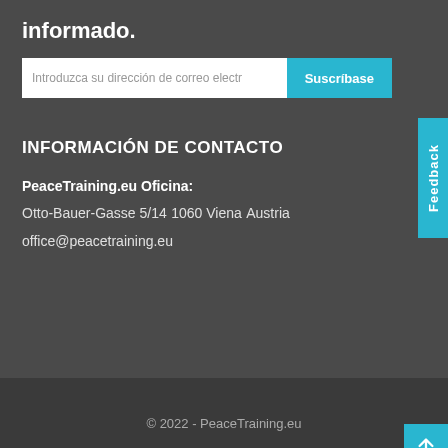informado.
Introduzca su dirección de correo electr…  Suscríbase
INFORMACIÓN DE CONTACTO
PeaceTraining.eu Oficina:
Otto-Bauer-Gasse 5/14
1060 Viena
Austria
office@peacetraining.eu
© 2022 - PeaceTraining.eu